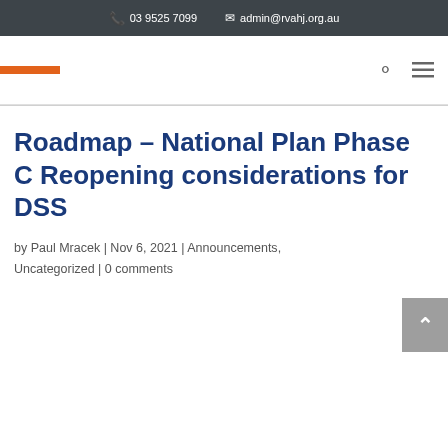03 9525 7099  admin@rvahj.org.au
Roadmap – National Plan Phase C Reopening considerations for DSS
by Paul Mracek | Nov 6, 2021 | Announcements, Uncategorized | 0 comments